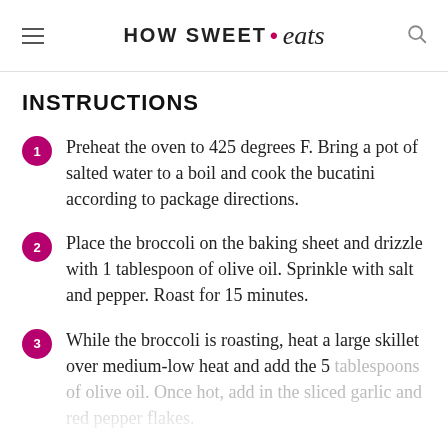HOW SWEET • eats
INSTRUCTIONS
Preheat the oven to 425 degrees F. Bring a pot of salted water to a boil and cook the bucatini according to package directions.
Place the broccoli on the baking sheet and drizzle with 1 tablespoon of olive oil. Sprinkle with salt and pepper. Roast for 15 minutes.
While the broccoli is roasting, heat a large skillet over medium-low heat and add the 5 tablespoons of olive oil. Once hot, add in the sliced garlic and red pepper flakes.